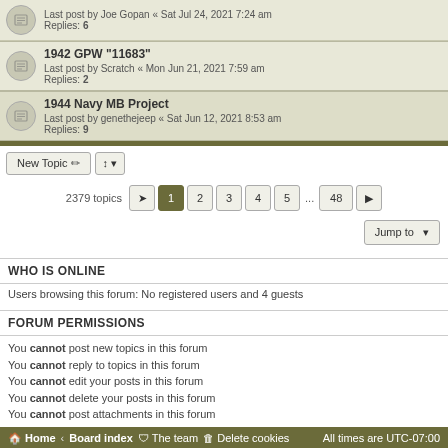Last post by Joe Gopan « Sat Jul 24, 2021 7:24 am
Replies: 6
1942 GPW "11683"
Last post by Scratch « Mon Jun 21, 2021 7:59 am
Replies: 2
1944 Navy MB Project
Last post by genehejeep « Sat Jun 12, 2021 8:53 am
Replies: 9
2379 topics  1 2 3 4 5 ... 48
Jump to
WHO IS ONLINE
Users browsing this forum: No registered users and 4 guests
FORUM PERMISSIONS
You cannot post new topics in this forum
You cannot reply to topics in this forum
You cannot edit your posts in this forum
You cannot delete your posts in this forum
You cannot post attachments in this forum
Home · Board index · The team · Delete cookies  All times are UTC-07:00
Powered by phpBB® Forum Software © phpBB Limited